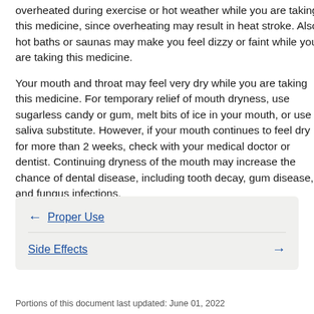overheated during exercise or hot weather while you are taking this medicine, since overheating may result in heat stroke. Also, hot baths or saunas may make you feel dizzy or faint while you are taking this medicine.
Your mouth and throat may feel very dry while you are taking this medicine. For temporary relief of mouth dryness, use sugarless candy or gum, melt bits of ice in your mouth, or use a saliva substitute. However, if your mouth continues to feel dry for more than 2 weeks, check with your medical doctor or dentist. Continuing dryness of the mouth may increase the chance of dental disease, including tooth decay, gum disease, and fungus infections.
← Proper Use
Side Effects →
Portions of this document last updated: June 01, 2022